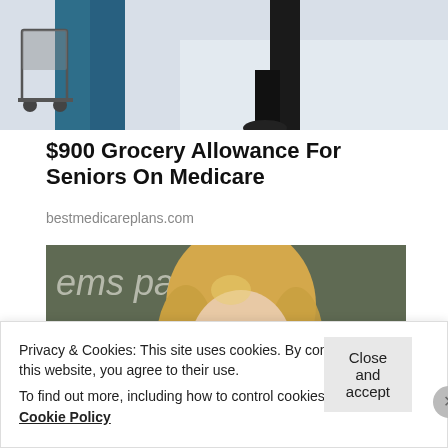[Figure (photo): Partial photo showing person in blue scrubs/pants next to a wheeled cart on a light floor]
$900 Grocery Allowance For Seniors On Medicare
bestmedicareplans.com
[Figure (photo): Woman with blonde wavy hair in front of a chalkboard with text 'ems parent' visible]
Privacy & Cookies: This site uses cookies. By continuing to use this website, you agree to their use.
To find out more, including how to control cookies, see here: Cookie Policy
Close and accept